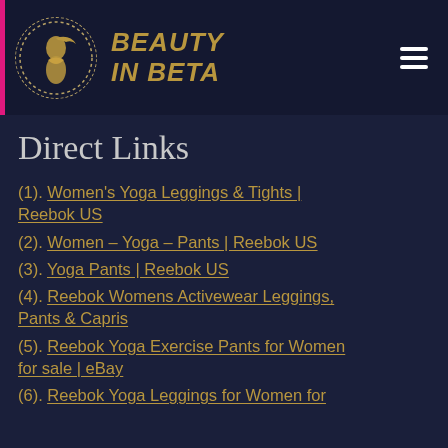[Figure (logo): Beauty In Beta website header logo with circular golden silhouette icon and brand name in gold italic text on dark navy background]
Direct Links
(1). Women's Yoga Leggings & Tights | Reebok US
(2). Women – Yoga – Pants | Reebok US
(3). Yoga Pants | Reebok US
(4). Reebok Womens Activewear Leggings, Pants & Capris
(5). Reebok Yoga Exercise Pants for Women for sale | eBay
(6). Reebok Yoga Leggings for Women for